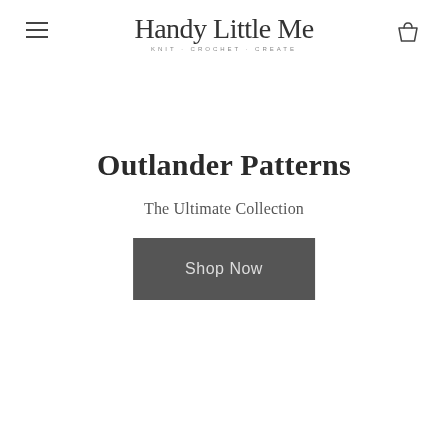Handy Little Me — KNIT · CROCHET · CREATE
Outlander Patterns
The Ultimate Collection
Shop Now